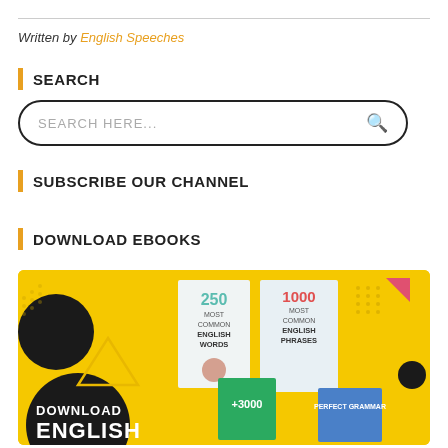Written by English Speeches
SEARCH
SEARCH HERE...
SUBSCRIBE OUR CHANNEL
DOWNLOAD EBOOKS
[Figure (illustration): Yellow promotional banner for downloading English ebooks, showing book covers: '250 Most Common English Words', '1000 Most Common English Phrases', '+3000', 'Perfect Grammar'. Text reads 'DOWNLOAD ENGLISH'. Decorative geometric shapes in black, white, and pink on yellow background.]